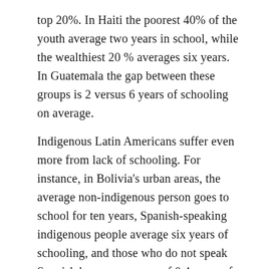top 20%. In Haiti the poorest 40% of the youth average two years in school, while the wealthiest 20 % averages six years. In Guatemala the gap between these groups is 2 versus 6 years of schooling on average.
Indigenous Latin Americans suffer even more from lack of schooling. For instance, in Bolivia's urban areas, the average non-indigenous person goes to school for ten years, Spanish-speaking indigenous people average six years of schooling, and those who do not speak Spanish have an average of 0.4 years of schooling.